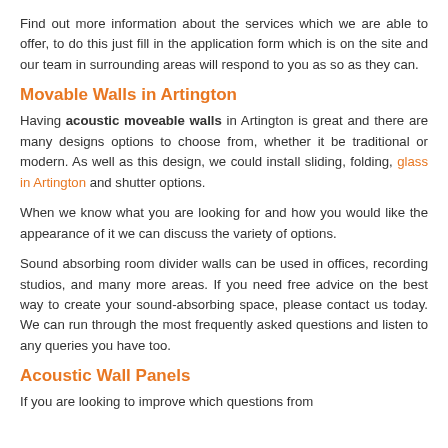Find out more information about the services which we are able to offer, to do this just fill in the application form which is on the site and our team in surrounding areas will respond to you as so as they can.
Movable Walls in Artington
Having acoustic moveable walls in Artington is great and there are many designs options to choose from, whether it be traditional or modern. As well as this design, we could install sliding, folding, glass in Artington and shutter options.
When we know what you are looking for and how you would like the appearance of it we can discuss the variety of options.
Sound absorbing room divider walls can be used in offices, recording studios, and many more areas. If you need free advice on the best way to create your sound-absorbing space, please contact us today. We can run through the most frequently asked questions and listen to any queries you have too.
Acoustic Wall Panels
If you are looking to improve which questions from